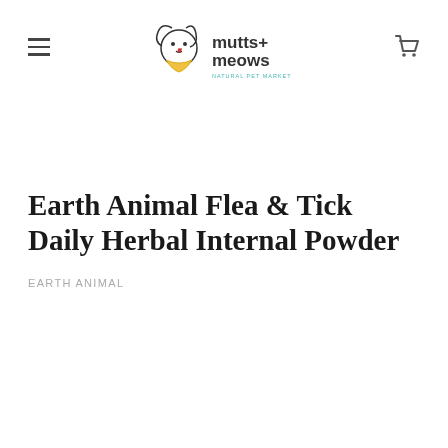mutts+meows natural pet market
Earth Animal Flea & Tick Daily Herbal Internal Powder
EARTH ANIMAL